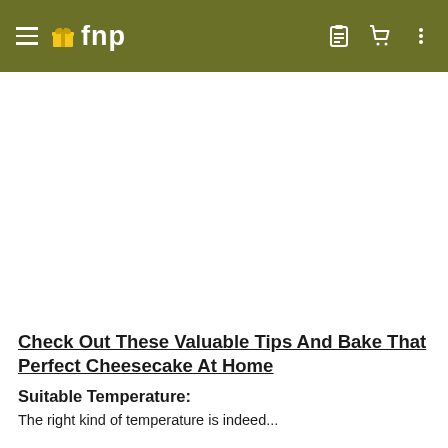fnp
[Figure (photo): Large white/blank image area below the navigation bar, representing a hero or article image that is not loaded or is white.]
Check Out These Valuable Tips And Bake That Perfect Cheesecake At Home
Suitable Temperature:
The right kind of temperature is indeed...